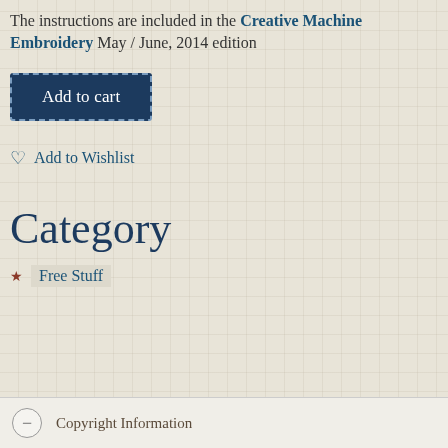The instructions are included in the Creative Machine Embroidery May / June, 2014 edition
Add to cart
♡ Add to Wishlist
Category
Free Stuff
– Copyright Information